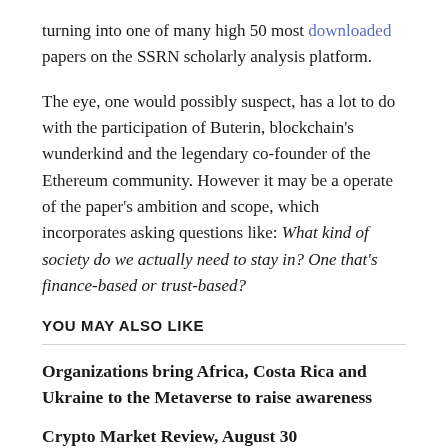turning into one of many high 50 most downloaded papers on the SSRN scholarly analysis platform.
The eye, one would possibly suspect, has a lot to do with the participation of Buterin, blockchain's wunderkind and the legendary co-founder of the Ethereum community. However it may be a operate of the paper's ambition and scope, which incorporates asking questions like: What kind of society do we actually need to stay in? One that's finance-based or trust-based?
YOU MAY ALSO LIKE
Organizations bring Africa, Costa Rica and Ukraine to the Metaverse to raise awareness
Crypto Market Review, August 30